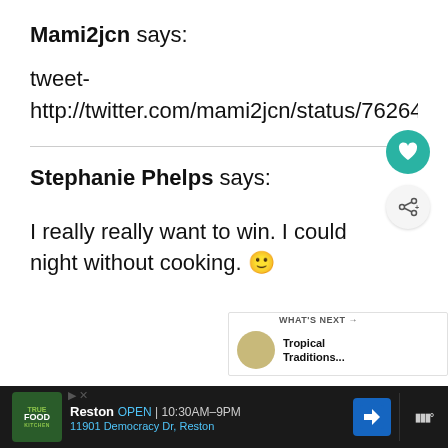Mami2jcn says:
tweet-
http://twitter.com/mami2jcn/status/76264675...
Stephanie Phelps says:
I really really want to win. I could... night without cooking. 🙂
[Figure (other): Ad bar at bottom: True Food Kitchen, Reston, OPEN 10:30AM-9PM, 11901 Democracy Dr, Reston]
[Figure (other): What's Next widget: Tropical Traditions...]
[Figure (other): Heart (like) and share floating action buttons]